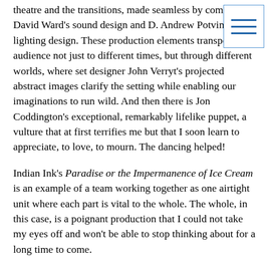theatre and the transitions, made seamless by composer David Ward's sound design and D. Andrew Potvin's lighting design. These production elements transport the audience not just to different times, but through different worlds, where set designer John Verryt's projected abstract images clarify the setting while enabling our imaginations to run wild. And then there is Jon Coddington's exceptional, remarkably lifelike puppet, a vulture that at first terrifies me but that I soon learn to appreciate, to love, to mourn. The dancing helped!
Indian Ink's Paradise or the Impermanence of Ice Cream is an example of a team working together as one airtight unit where each part is vital to the whole. The whole, in this case, is a poignant production that I could not take my eyes off and won't be able to stop thinking about for a long time to come.